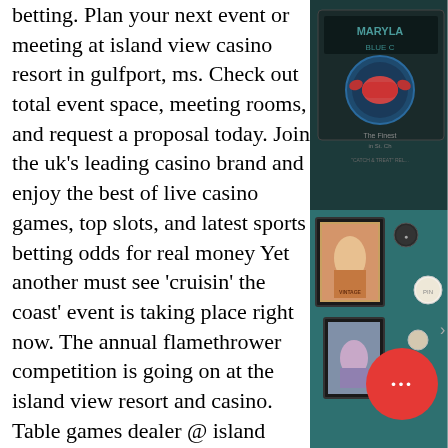betting. Plan your next event or meeting at island view casino resort in gulfport, ms. Check out total event space, meeting rooms, and request a proposal today. Join the uk's leading casino brand and enjoy the best of live casino games, top slots, and latest sports betting odds for real money Yet another must see 'cruisin' the coast' event is taking place right now. The annual flamethrower competition is going on at the island view resort and casino. Table games dealer @ island view casino resort. Gulfport, mississippi, united states. View julius's email (it's free). Login now to view your rewards points and information. Island view casino resort operates as a hotel and casino resort. The resort provides blackjack, craps, roulette, slots, restaurants, music shows. Latvian gaming company lucky streak has been handed a lifetime ban from the s Officials with island view casino operat say that new traditions at either hotel and
[Figure (photo): Right side of page shows two photo panels: top panel is a dark teal/teal background with a Maryland Blue Crab themed sign visible and text partially cut off; bottom panel shows a teal wall with framed vintage posters/artwork and decorative pins/buttons. A red circular button with three dots (ellipsis/more options icon) overlays the bottom-right corner.]